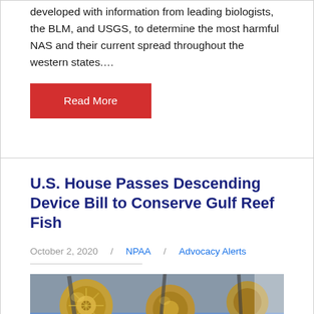developed with information from leading biologists, the BLM, and USGS, to determine the most harmful NAS and their current spread throughout the western states....
Read More
U.S. House Passes Descending Device Bill to Conserve Gulf Reef Fish
October 2, 2020    NPAA    Advocacy Alerts
[Figure (photo): Close-up photograph of fishing reels mounted on rods against a blue sky background]